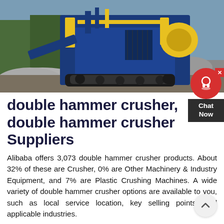[Figure (photo): Large blue and yellow industrial double hammer crusher machine on a rocky terrain with trees in the background. The machine has tracks and a conveyor belt.]
double hammer crusher, double hammer crusher Suppliers
Alibaba offers 3,073 double hammer crusher products. About 32% of these are Crusher, 0% are Other Machinery & Industry Equipment, and 7% are Plastic Crushing Machines. A wide variety of double hammer crusher options are available to you, such as local service location, key selling points, and applicable industries.